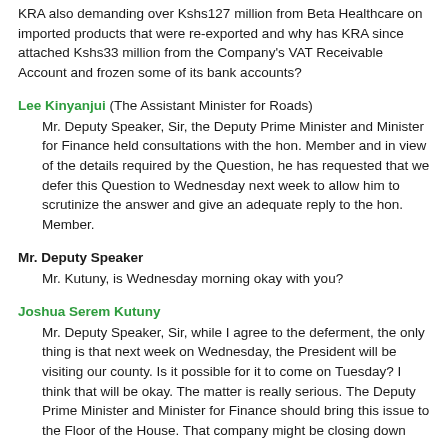KRA also demanding over Kshs127 million from Beta Healthcare on imported products that were re-exported and why has KRA since attached Kshs33 million from the Company's VAT Receivable Account and frozen some of its bank accounts?
Lee Kinyanjui (The Assistant Minister for Roads)
Mr. Deputy Speaker, Sir, the Deputy Prime Minister and Minister for Finance held consultations with the hon. Member and in view of the details required by the Question, he has requested that we defer this Question to Wednesday next week to allow him to scrutinize the answer and give an adequate reply to the hon. Member.
Mr. Deputy Speaker
Mr. Kutuny, is Wednesday morning okay with you?
Joshua Serem Kutuny
Mr. Deputy Speaker, Sir, while I agree to the deferment, the only thing is that next week on Wednesday, the President will be visiting our county. Is it possible for it to come on Tuesday? I think that will be okay. The matter is really serious. The Deputy Prime Minister and Minister for Finance should bring this issue to the Floor of the House. That company might be closing down